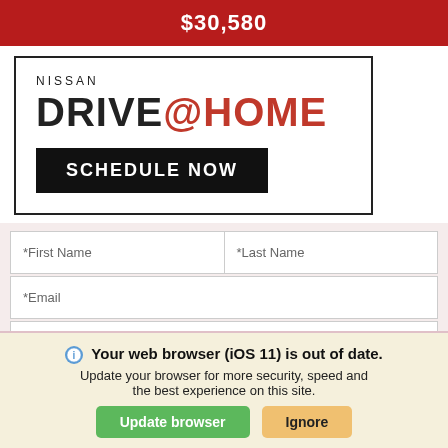$30,580
[Figure (screenshot): Nissan Drive@Home advertisement with SCHEDULE NOW button]
*First Name | *Last Name
*Email
Phone
Preferred Contact Method:
Your web browser (iOS 11) is out of date. Update your browser for more security, speed and the best experience on this site.
Update browser | Ignore